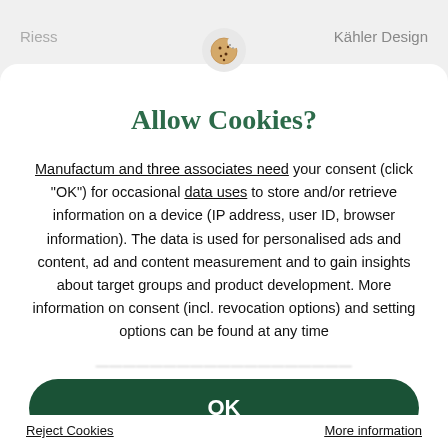Riess
Kähler Design
[Figure (illustration): Cookie icon — a round cookie with a bite taken out and small dots representing chocolate chips, inside a light grey circle]
Allow Cookies?
Manufactum and three associates need your consent (click "OK") for occasional data uses to store and/or retrieve information on a device (IP address, user ID, browser information). The data is used for personalised ads and content, ad and content measurement and to gain insights about target groups and product development. More information on consent (incl. revocation options) and setting options can be found at any time
OK
Reject Cookies
More information